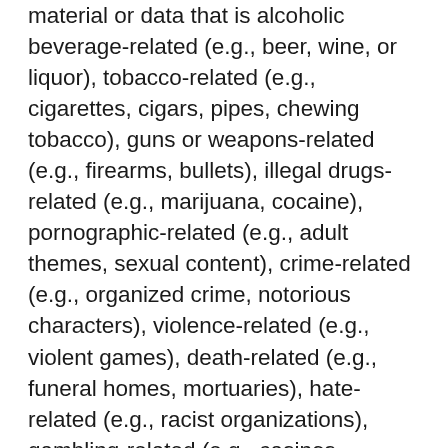material or data that is alcoholic beverage-related (e.g., beer, wine, or liquor), tobacco-related (e.g., cigarettes, cigars, pipes, chewing tobacco), guns or weapons-related (e.g., firearms, bullets), illegal drugs-related (e.g., marijuana, cocaine), pornographic-related (e.g., adult themes, sexual content), crime-related (e.g., organized crime, notorious characters), violence-related (e.g., violent games), death-related (e.g., funeral homes, mortuaries), hate-related (e.g., racist organizations), gambling-related (e.g., casinos, lotteries), specifically mentions any wireless carrier or copies or parodies the products or Mobile Services of any wireless carrier; (v) viruses, Trojan horses, worms, time bombs, cancelbots, or other computer programming routines that are intended to